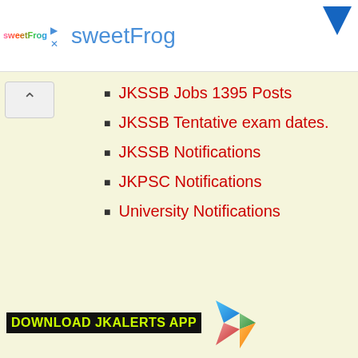[Figure (logo): sweetFrog advertisement banner with logo, play and close buttons, brand name in blue, and blue arrow icon top right]
[Figure (other): Collapse/expand chevron-up button on left side]
JKSSB Jobs 1395 Posts
JKSSB Tentative exam dates.
JKSSB Notifications
JKPSC Notifications
University Notifications
[Figure (logo): DOWNLOAD JKALERTS APP text with Google Play Store triangle icon]